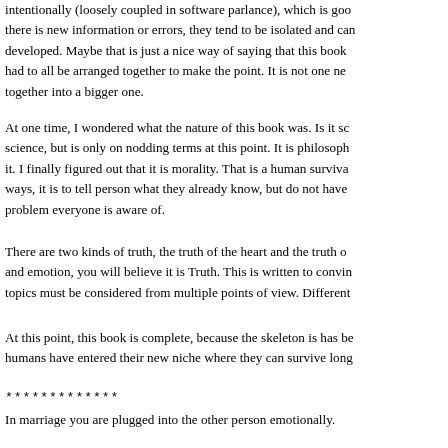intentionally (loosely coupled in software parlance), which is good because if there is new information or errors, they tend to be isolated and can be easily developed. Maybe that is just a nice way of saying that this book had to all be arranged together to make the point. It is not one new idea put together into a bigger one.
At one time, I wondered what the nature of this book was. Is it science, but is only on nodding terms at this point. It is philosophy it. I finally figured out that it is morality. That is a human survival ways, it is to tell person what they already know, but do not have problem everyone is aware of.
There are two kinds of truth, the truth of the heart and the truth of and emotion, you will believe it is Truth. This is written to convince topics must be considered from multiple points of view. Different
At this point, this book is complete, because the skeleton is has been humans have entered their new niche where they can survive long
*************
In marriage you are plugged into the other person emotionally.